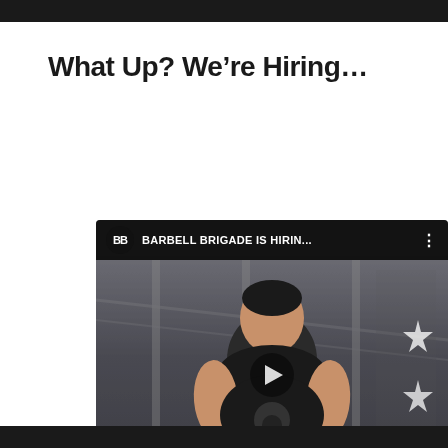What Up? We’re Hiring…
[Figure (screenshot): YouTube video thumbnail showing a man in a black t-shirt sitting in a gym, with a video player overlay showing 'BARBELL BRIGADE IS HIRIN...' title bar, a play button in the center, and a YouTube notification badge at the bottom reading '4,230 fans are subscribed to our YouTube channel, about 1 minute ago']